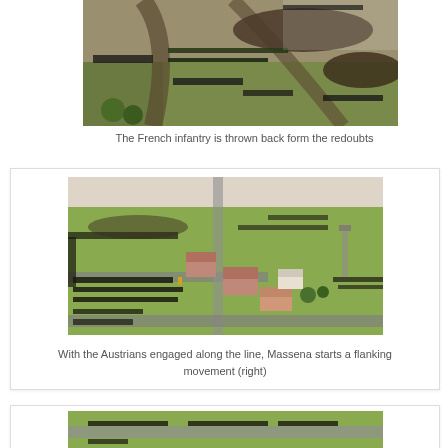[Figure (photo): Aerial view of a miniature wargame battle scene showing French infantry being repelled from redoubts. Green terrain with dark military unit formations and earthwork fortifications.]
The French infantry is thrown back form the redoubts
[Figure (photo): Aerial view of a miniature wargame battle scene showing Austrians engaged along a line with village buildings (pink roofed structures), roads, and Massena beginning a flanking movement to the right.]
With the Austrians engaged along the line, Massena starts a flanking movement (right)
[Figure (photo): Partial view of another miniature wargame battle scene, cropped at bottom of page, showing troop formations on green terrain.]